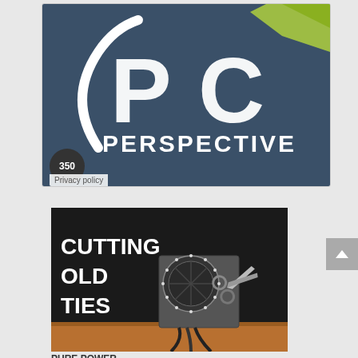[Figure (logo): PC Perspective logo on dark blue background with white PC letters and PERSPECTIVE text below, with a green swoosh/hand graphic in upper right]
350
Privacy policy
[Figure (photo): Advertisement image with black background showing a PC power supply unit and scissors cutting cables, with text CUTTING OLD TIES in white letters on the left]
PURE POWER...